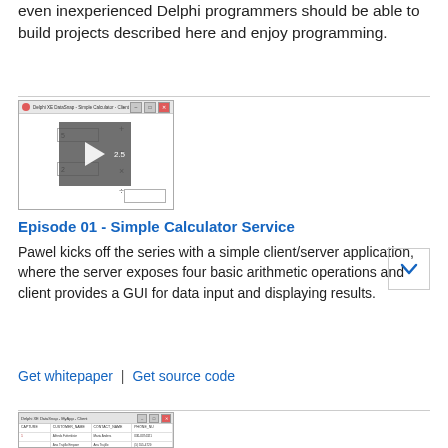even inexperienced Delphi programmers should be able to build projects described here and enjoy programming.
[Figure (screenshot): Screenshot of Delphi XE DataSnap Simple Calculator Client application with a video play overlay showing number 2.5]
Episode 01 - Simple Calculator Service
Pawel kicks off the series with a simple client/server application, where the server exposes four basic arithmetic operations and client provides a GUI for data input and displaying results.
Get whitepaper | Get source code
[Figure (screenshot): Screenshot of Delphi XE DataSnap MyApp Client application showing a data grid with multiple rows and columns]